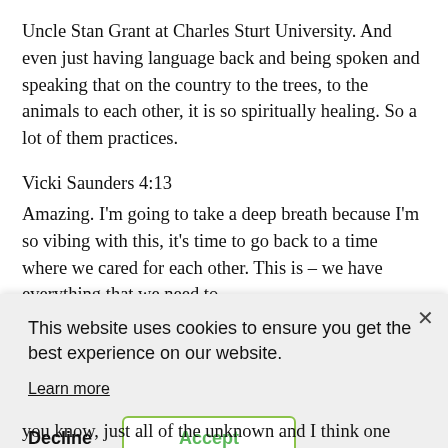Uncle Stan Grant at Charles Sturt University. And even just having language back and being spoken and speaking that on the country to the trees, to the animals to each other, it is so spiritually healing. So a lot of them practices.
Vicki Saunders 4:13
Amazing. I'm going to take a deep breath because I'm so vibing with this, it's time to go back to a time where we cared for each other. This is – we have everything that we need to [text continues behind overlay]
[Figure (screenshot): Cookie consent banner overlay with close button (×), message 'This website uses cookies to ensure you get the best experience on our website.', a 'Learn more' underlined link, 'Decline' button, and 'Accept' button with green border. Language switcher showing 'EN | FR' in bottom right.]